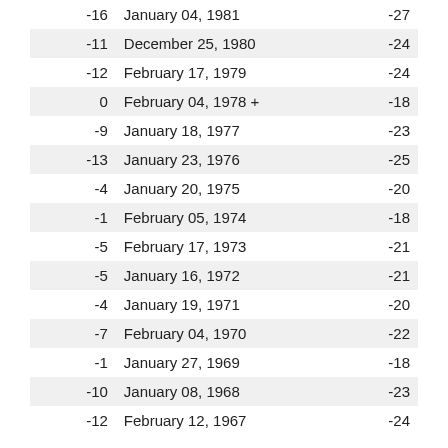| -16 | January 04, 1981 | -27 |
| -11 | December 25, 1980 | -24 |
| -12 | February 17, 1979 | -24 |
| 0 | February 04, 1978 + | -18 |
| -9 | January 18, 1977 | -23 |
| -13 | January 23, 1976 | -25 |
| -4 | January 20, 1975 | -20 |
| -1 | February 05, 1974 | -18 |
| -5 | February 17, 1973 | -21 |
| -5 | January 16, 1972 | -21 |
| -4 | January 19, 1971 | -20 |
| -7 | February 04, 1970 | -22 |
| -1 | January 27, 1969 | -18 |
| -10 | January 08, 1968 | -23 |
| -12 | February 12, 1967 | -24 |